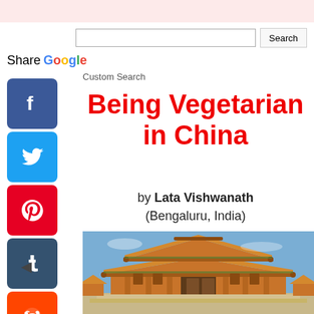[Figure (screenshot): Website screenshot showing Google Custom Search bar with Search button]
Share Google Custom Search
[Figure (infographic): Social media sharing icons: Facebook, Twitter, Pinterest, Tumblr, Reddit, WhatsApp in a vertical column on the left side]
Being Vegetarian in China
by Lata Vishwanath (Bengaluru, India)
[Figure (photo): Photo of a traditional Chinese temple building (Forbidden City) with orange/brown tiered roofs against a blue sky]